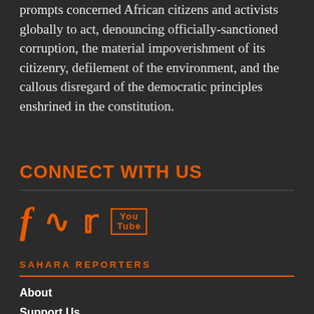prompts concerned African citizens and activists globally to act, denouncing officially-sanctioned corruption, the material impoverishment of its citizenry, defilement of the environment, and the callous disregard of the democratic principles enshrined in the constitution.
CONNECT WITH US
[Figure (illustration): Social media icons: Facebook (f), RSS feed, Twitter bird, YouTube logo in orange on dark background]
SAHARA REPORTERS
About
Support Us